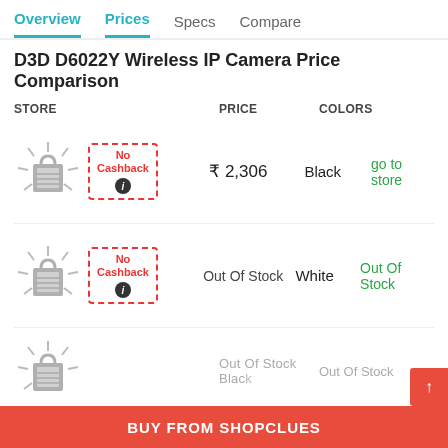Overview  Prices  Specs  Compare
D3D D6022Y Wireless IP Camera Price Comparison
| STORE | PRICE | COLORS |  |
| --- | --- | --- | --- |
| [bag icon] No Cashback | ₹ 2,306 | Black | go to store |
| [bag icon] No Cashback | Out Of Stock | White | Out Of Stock |
| [bag icon] | Out Of Stock | Black | Out Of Stock |
VIEW ALL PRICES
BUY FROM SHOPCLUES